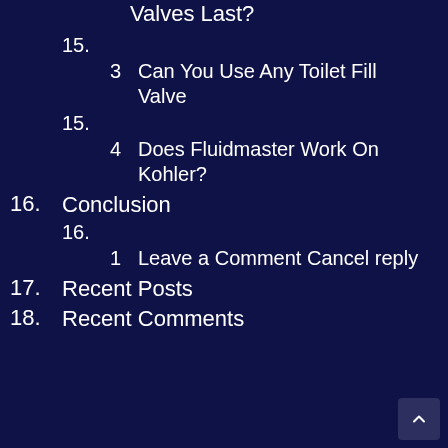Valves Last?
15.
3  Can You Use Any Toilet Fill Valve
15.
4  Does Fluidmaster Work On Kohler?
16.  Conclusion
16.
1  Leave a Comment Cancel reply
17.  Recent Posts
18.  Recent Comments